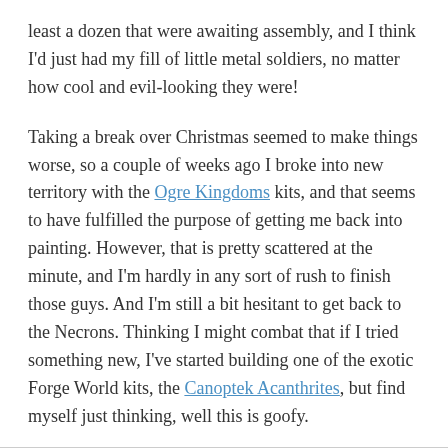least a dozen that were awaiting assembly, and I think I'd just had my fill of little metal soldiers, no matter how cool and evil-looking they were!
Taking a break over Christmas seemed to make things worse, so a couple of weeks ago I broke into new territory with the Ogre Kingdoms kits, and that seems to have fulfilled the purpose of getting me back into painting. However, that is pretty scattered at the minute, and I'm hardly in any sort of rush to finish those guys. And I'm still a bit hesitant to get back to the Necrons. Thinking I might combat that if I tried something new, I've started building one of the exotic Forge World kits, the Canoptek Acanthrites, but find myself just thinking, well this is goofy.